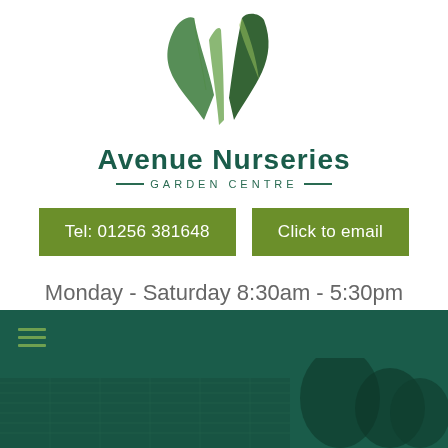[Figure (logo): Avenue Nurseries Garden Centre logo with two green leaves above the brand name]
Tel: 01256 381648
Click to email
Monday - Saturday 8:30am - 5:30pm
Sunday 10.30am - 4.30pm
Free Local Delivery over £50
[Figure (photo): Dark green navigation bar with hamburger menu icon and a photo of the garden centre building with trees in the background]